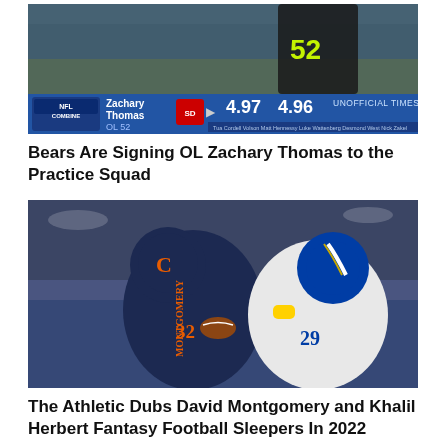[Figure (photo): NFL Combine screen showing Zachary Thomas OL 52 with times 4.97 and 4.96, UNOFFICIAL TIMES, with player in jersey #52 visible]
Bears Are Signing OL Zachary Thomas to the Practice Squad
[Figure (photo): Chicago Bears running back David Montgomery (jersey #32, MONTGOMERY) being tackled by a Los Angeles Rams defender (jersey #29) in blue/gold uniform during a football game]
The Athletic Dubs David Montgomery and Khalil Herbert Fantasy Football Sleepers In 2022